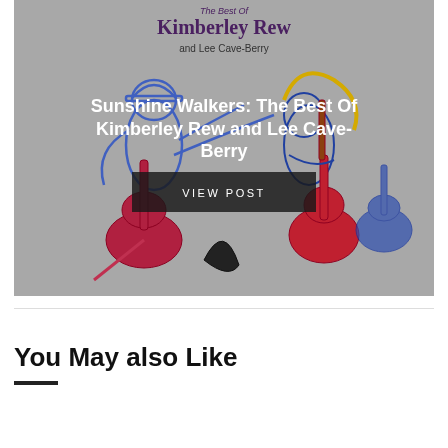[Figure (illustration): Album cover image for 'Sunshine Walkers: The Best Of Kimberley Rew and Lee Cave-Berry'. Grey background with illustrated musicians playing guitars in blue, red, and outline styles. Text overlay shows album title in white bold font with a 'VIEW POST' button below.]
Sunshine Walkers: The Best Of Kimberley Rew and Lee Cave-Berry
You May also Like